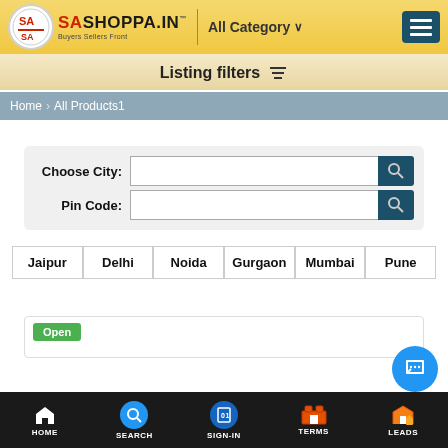[Figure (screenshot): Shoppa.in logo with SA emblem and Buyers Sellers Front tagline]
All Category ∨
Listing filters
Home > All Products1
Choose City:
Pin Code:
Jaipur
Delhi
Noida
Gurgaon
Mumbai
Pune
Open
HOME  SEARCH  SIGN-IN  TERMS  LEADS